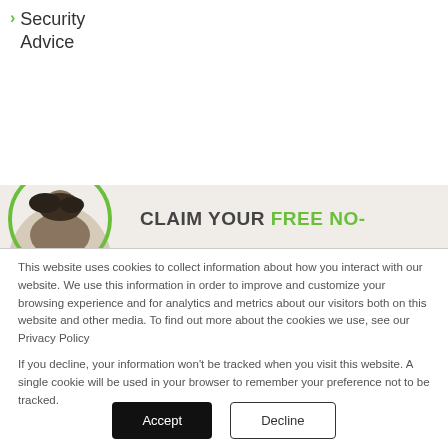Security Advice
[Figure (photo): Partial photo of a person's head in a circular frame with green border, used as a banner image]
CLAIM YOUR FREE NO-
This website uses cookies to collect information about how you interact with our website. We use this information in order to improve and customize your browsing experience and for analytics and metrics about our visitors both on this website and other media. To find out more about the cookies we use, see our Privacy Policy
If you decline, your information won't be tracked when you visit this website. A single cookie will be used in your browser to remember your preference not to be tracked.
Accept   Decline